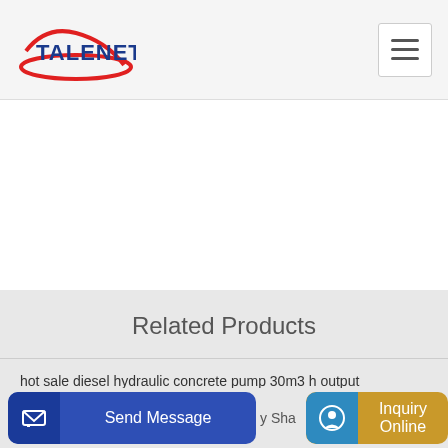[Figure (logo): Talenet company logo with red ellipse and blue text]
Related Products
hot sale diesel hydraulic concrete pump 30m3 h output
SCHWING BP stationary concrete pump
Send Message
Inquiry Online